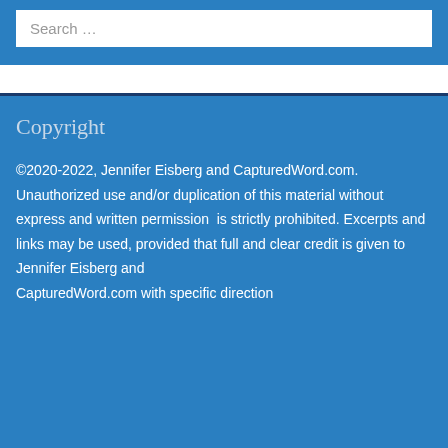Search …
Copyright
©2020-2022, Jennifer Eisberg and CapturedWord.com.  Unauthorized use and/or duplication of this material without express and written permission  is strictly prohibited. Excerpts and links may be used, provided that full and clear credit is given to Jennifer Eisberg and CapturedWord.com with specific direction